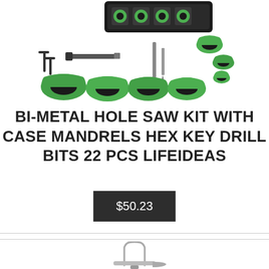[Figure (photo): Bi-metal hole saw kit showing green circular saw blades of various sizes, mandrels, hex keys, drill bits, and a carrying case with foam insert]
BI-METAL HOLE SAW KIT WITH CASE MANDRELS HEX KEY DRILL BITS 22 PCS LIFEIDEAS
$50.23
[Figure (photo): Partial image of a metallic tool, appears to be a tap wrench or similar hand tool in silver/chrome finish]